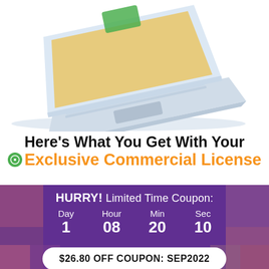[Figure (illustration): Isometric illustration of a laptop computer with a yellow/orange screen background and green element, shown from a 3/4 angle with keyboard and trackpad visible, light blue/gray shadow base.]
Here's What You Get With Your Exclusive Commercial License
[Figure (infographic): Purple countdown timer banner with blurred faces in background. Shows HURRY! Limited Time Coupon: with countdown Day 1, Hour 08, Min 20, Sec 10, and a white pill button reading $26.80 OFF COUPON: SEP2022]